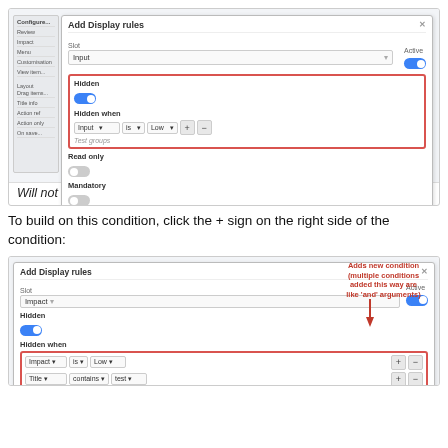[Figure (screenshot): Screenshot of 'Add Display rules' dialog showing Hidden section highlighted in red, with a condition 'Input is Low' and toggle switches for Hidden, Read only, and Mandatory fields.]
Will not display 'Impact' if it is 'Low'
To build on this condition, click the + sign on the right side of the condition:
[Figure (screenshot): Screenshot of 'Add Display rules' dialog showing two condition rows (Impact is Low, Title contains test) with annotation 'Adds new condition (multiple conditions added this way are like and arguments)' and red inline text 'Hide the Impact slot if the impact is low AND title contains test'.]